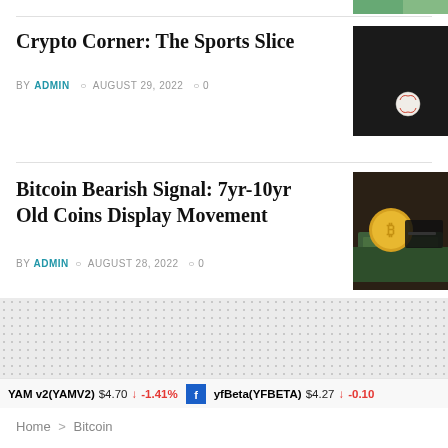[Figure (photo): Partial image of colorful/nature content at top right corner]
Crypto Corner: The Sports Slice
BY ADMIN  AUGUST 29, 2022  0
[Figure (photo): Black and white photo of a baseball on dark surface]
Bitcoin Bearish Signal: 7yr-10yr Old Coins Display Movement
BY ADMIN  AUGUST 28, 2022  0
[Figure (photo): Photo of gold bitcoin coin on US dollar bills with credit cards]
YAM v2(YAMV2)  $4.70  -1.41%    yfBeta(YFBETA)  $4.27  -0.10
Home > Bitcoin